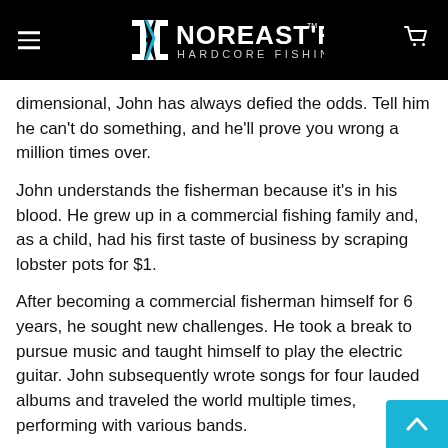NOREASTR HARDCORE FISHING
dimensional, John has always defied the odds. Tell him he can't do something, and he'll prove you wrong a million times over.
John understands the fisherman because it's in his blood. He grew up in a commercial fishing family and, as a child, had his first taste of business by scraping lobster pots for $1.
After becoming a commercial fisherman himself for 6 years, he sought new challenges. He took a break to pursue music and taught himself to play the electric guitar. John subsequently wrote songs for four lauded albums and traveled the world multiple times, performing with various bands.
That's not all. John did this while also immersing himself in computer design, coding and programming. A familiar th